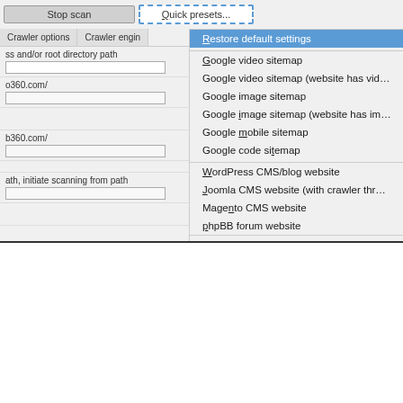[Figure (screenshot): Screenshot of a web crawler software interface showing a dropdown menu with 'Quick presets' options including 'Restore default settings' (highlighted in blue), Google video sitemap, Google image sitemap, Google mobile sitemap, Google code sitemap, WordPress CMS/blog website, Joomla CMS website (with crawler throttling), Magento CMS website, phpBB forum website, and partially visible items. Left panel shows crawler options form fields.]
TechSEO360 Crawler Guide – Sitemaps and Technical SEO Audits
May 21st, 2019 | by Ruud Hein